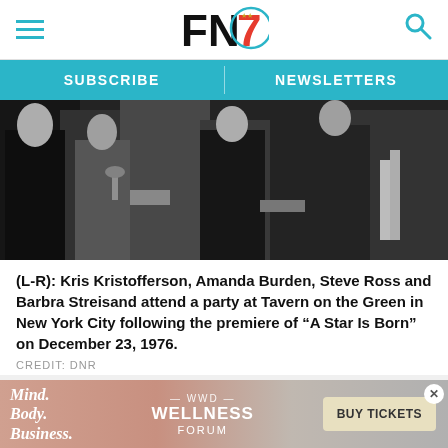FN7 logo with hamburger menu and search icon
SUBSCRIBE | NEWSLETTERS
[Figure (photo): Black and white photo of people in formal wear at a party, holding drinks]
(L-R): Kris Kristofferson, Amanda Burden, Steve Ross and Barbra Streisand attend a party at Tavern on the Green in New York City following the premiere of “A Star Is Born” on December 23, 1976.
CREDIT: DNR
ADVERTISEMENT